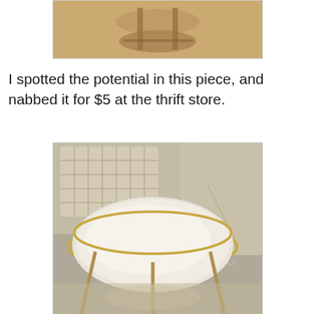[Figure (photo): Top portion of a round two-tier side table with wooden frame, photographed from above, on a hardwood floor]
I spotted the potential in this piece, and nabbed it for $5 at the thrift store.
[Figure (photo): Close-up photo of the round seat/top of a vintage stool or side table with a gold/brass ring frame and white padded surface, surrounded by other furniture in a cluttered space]